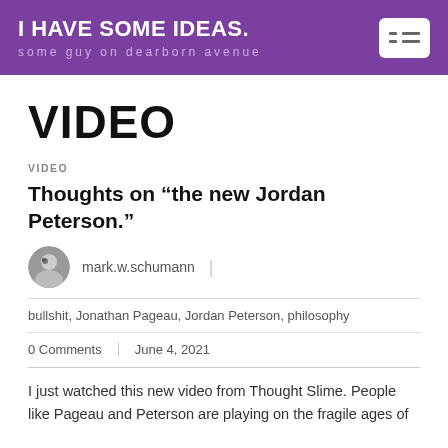I HAVE SOME IDEAS.
some guy on dearborn avenue
VIDEO
VIDEO
Thoughts on “the new Jordan Peterson.”
mark.w.schumann
bullshit, Jonathan Pageau, Jordan Peterson, philosophy
0 Comments June 4, 2021
I just watched this new video from Thought Slime. People like Pageau and Peterson are playing on the fragile ages of